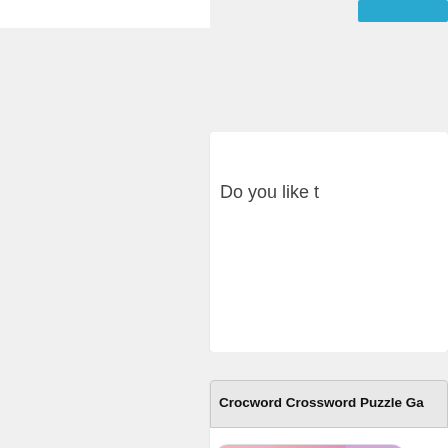[Figure (screenshot): Partial webpage screenshot showing a gaming/app directory site. Left side shows gray background panel. Top right has a teal/cyan button partially visible. Below is a white card with text 'Do you like t...' (truncated). Then a listing card titled 'Crocword Crossword Puzzle Ga...' with a word game app thumbnail image showing colorful letter tiles spelling WORD. Below that another 'Crocword Crossword Puzzle Ga...' section header with partial app thumbnails at bottom.]
Do you like t
Crocword Crossword Puzzle Ga
Tags:
Conn
Crocword Crossword Puzzle Ga